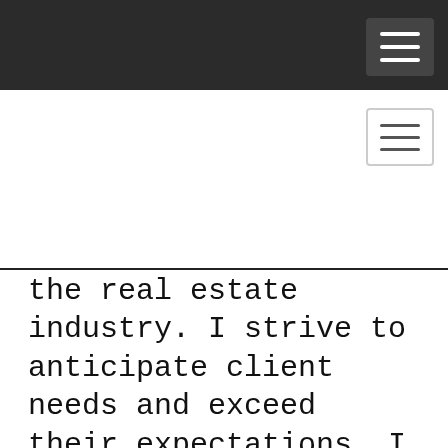the real estate industry. I strive to anticipate client needs and exceed their expectations. I will make your real estate experience as clear, simple, and enjoyable as I can.
I am dedicated and driven to provide you the best buying or selling experience possible. I